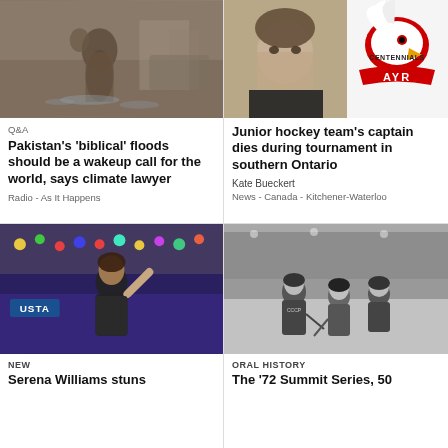[Figure (photo): Woman carrying child walking through floodwaters in Pakistan]
Q&A
Pakistan's 'biblical' floods should be a wakeup call for the world, says climate lawyer
Radio  -  As It Happens
[Figure (photo): Young man portrait and Ayr Centennials junior hockey team logo]
Junior hockey team's captain dies during tournament in southern Ontario
Kate Bueckert
News  -  Canada  -  Kitchener-Waterloo
[Figure (photo): Serena Williams at US Open tennis tournament, USTA visible on court]
NEW
Serena Williams stuns
[Figure (photo): Black and white photo of 1972 Summit Series hockey game between Canada and USSR]
ORAL HISTORY
The '72 Summit Series, 50